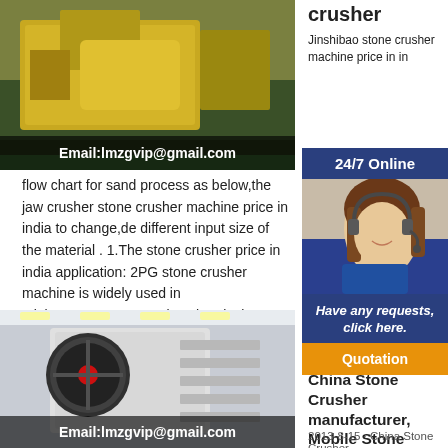[Figure (photo): Industrial machinery/crusher equipment in a factory setting, yellowish machinery visible]
Email:lmzgvip@gmail.com
crusher
Jinshibao stone crusher machine price in in...
flow chart for sand process as below,the jaw crusher stone crusher machine price in india to change,de different input size of the material . 1.The stone crusher price in india application: 2PG stone crusher machine is widely used in mining,quarry,construction,chemical company manufacturing and exporter of crushers. 2.The principle of operation of stone
[Figure (photo): 24/7 Online customer service panel with woman wearing headset]
Have any requests, click here.
Quotation
[Figure (photo): Stone crusher machine in industrial facility with red flywheel]
Email:lmzgvip@gmail.com
China Stone Crusher manufacturer, Mobile Stone
2013-8-15 · China Stone Crusher